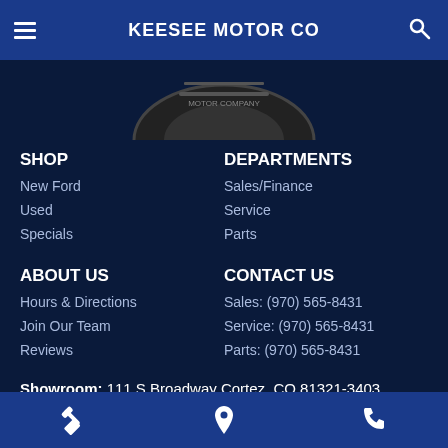KEESEE MOTOR CO
[Figure (photo): Partial view of a tire/wheel at the top of the page]
SHOP
New Ford
Used
Specials
DEPARTMENTS
Sales/Finance
Service
Parts
ABOUT US
Hours & Directions
Join Our Team
Reviews
CONTACT US
Sales: (970) 565-8431
Service: (970) 565-8431
Parts: (970) 565-8431
Showroom: 111 S Broadway Cortez, CO 81321-3403
FordDirect Privacy | Definitions & Disclosures |